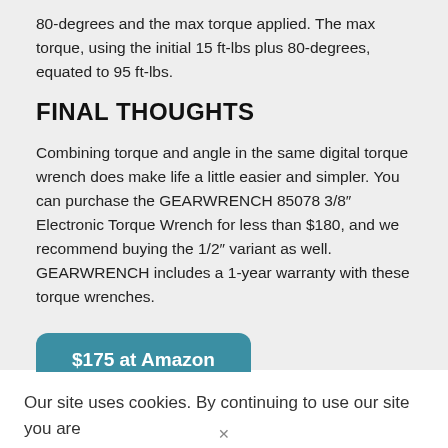80-degrees and the max torque applied. The max torque, using the initial 15 ft-lbs plus 80-degrees, equated to 95 ft-lbs.
FINAL THOUGHTS
Combining torque and angle in the same digital torque wrench does make life a little easier and simpler. You can purchase the GEARWRENCH 85078 3/8″ Electronic Torque Wrench for less than $180, and we recommend buying the 1/2″ variant as well. GEARWRENCH includes a 1-year warranty with these torque wrenches.
$175 at Amazon
Our site uses cookies. By continuing to use our site you are